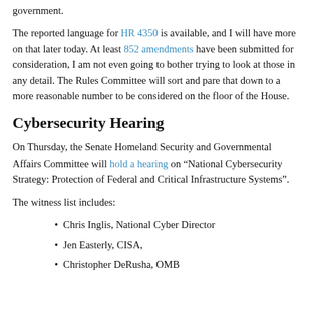government.
The reported language for HR 4350 is available, and I will have more on that later today. At least 852 amendments have been submitted for consideration, I am not even going to bother trying to look at those in any detail. The Rules Committee will sort and pare that down to a more reasonable number to be considered on the floor of the House.
Cybersecurity Hearing
On Thursday, the Senate Homeland Security and Governmental Affairs Committee will hold a hearing on “National Cybersecurity Strategy: Protection of Federal and Critical Infrastructure Systems”.
The witness list includes:
Chris Inglis, National Cyber Director
Jen Easterly, CISA,
Christopher DeRusha, OMB